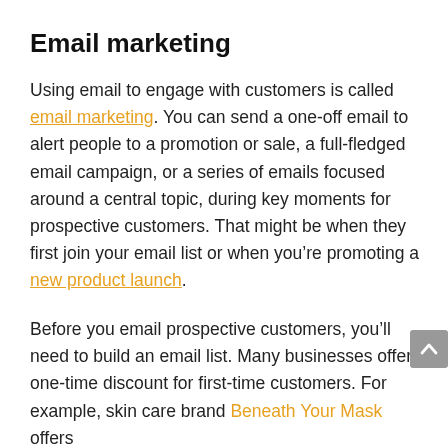Email marketing
Using email to engage with customers is called email marketing. You can send a one-off email to alert people to a promotion or sale, a full-fledged email campaign, or a series of emails focused around a central topic, during key moments for prospective customers. That might be when they first join your email list or when you’re promoting a new product launch.
Before you email prospective customers, you’ll need to build an email list. Many businesses offer a one-time discount for first-time customers. For example, skin care brand Beneath Your Mask offers